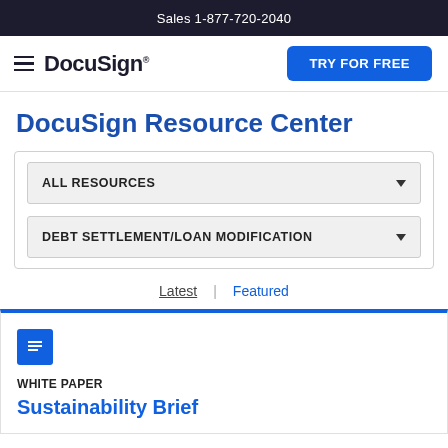Sales 1-877-720-2040
[Figure (logo): DocuSign logo with hamburger menu and TRY FOR FREE button]
DocuSign Resource Center
ALL RESOURCES (dropdown)
DEBT SETTLEMENT/LOAN MODIFICATION (dropdown)
Latest | Featured
WHITE PAPER
Sustainability Brief